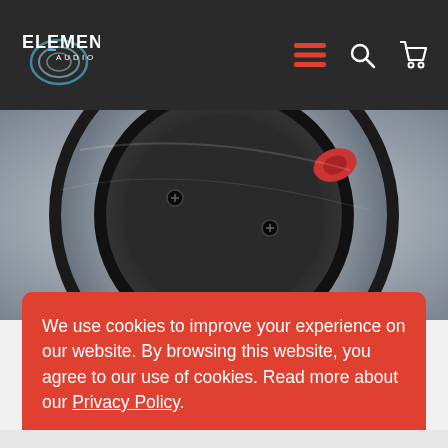[Figure (logo): Elements Audio logo with swirl graphic and white text on dark background]
[Figure (photo): Close-up photograph of a speaker driver showing the rear/back of the unit with black center dust cap, metallic silver ring, rubber surround, and black outer basket]
We use cookies to improve your experience on our website. By browsing this website, you agree to our use of cookies. Read more about our Privacy Policy.
I accept